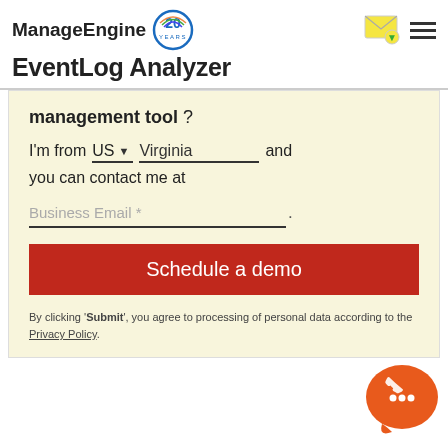ManageEngine 20 YEARS | EventLog Analyzer
management tool?
I'm from US ▼ Virginia and you can contact me at
Business Email *
Schedule a demo
By clicking 'Submit', you agree to processing of personal data according to the Privacy Policy.
[Figure (illustration): Orange chat/phone support bubble icon in bottom right corner]